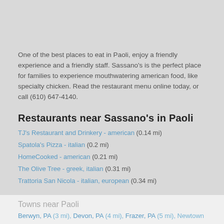One of the best places to eat in Paoli, enjoy a friendly experience and a friendly staff. Sassano's is the perfect place for families to experience mouthwatering american food, like specialty chicken. Read the restaurant menu online today, or call (610) 647-4140.
Restaurants near Sassano's in Paoli
TJ's Restaurant and Drinkery - american (0.14 mi)
Spatola's Pizza - italian (0.2 mi)
HomeCooked - american (0.21 mi)
The Olive Tree - greek, italian (0.31 mi)
Trattoria San Nicola - italian, european (0.34 mi)
Cities near Paoli
Malvern, PA (2 mi), Wayne, PA (6 mi), King of Prussia, PA (6 mi), Phoenixville, PA (6 mi), Media, PA (7 mi), Norristown, PA (7 mi), West Chester, PA (8 mi), Exton, PA (9 mi)
Towns near Paoli
Berwyn, PA (3 mi), Devon, PA (4 mi), Frazer, PA (5 mi), Newtown Square